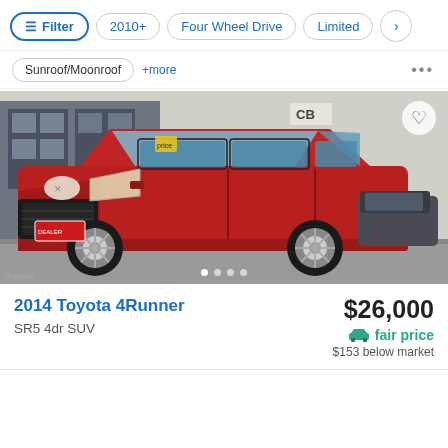Filter  2010+  Four Wheel Drive  Limited
Sunroof/Moonroof  +more
[Figure (photo): Red 2014 Toyota 4Runner SR5 SUV parked at a dealership lot, front 3/4 view, with a gray building in background]
2014 Toyota 4Runner
SR5 4dr SUV
$26,000
fair price
$153 below market